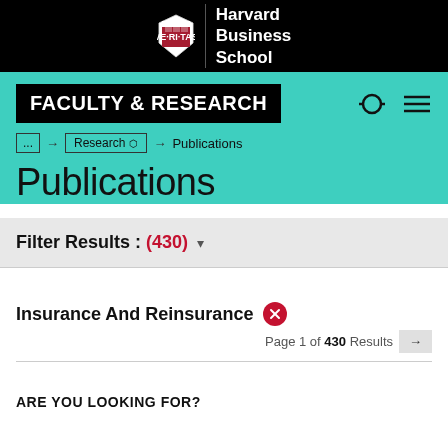[Figure (logo): Harvard Business School logo with shield and text on black background]
FACULTY & RESEARCH
... → Research → Publications
Publications
Filter Results : (430)
Insurance And Reinsurance
Page 1 of 430 Results →
ARE YOU LOOKING FOR?